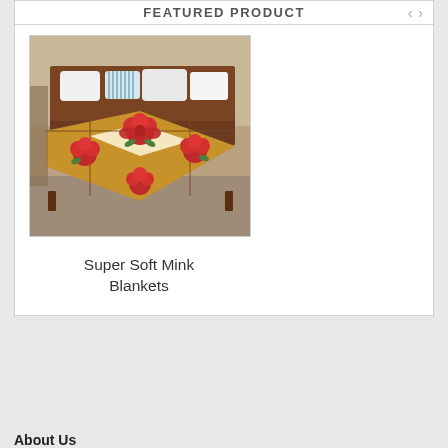FEATURED PRODUCT
[Figure (photo): A colorful mink blanket with red rose pattern draped over a bed with pillows in the background]
Super Soft Mink Blankets
About Us